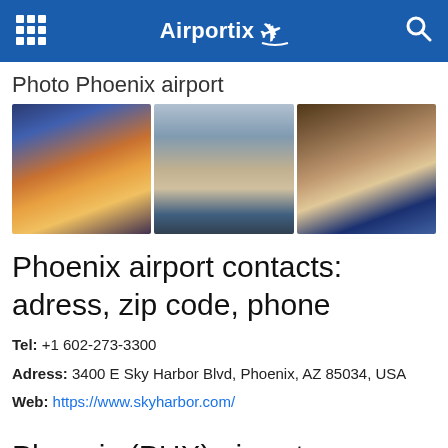Airportix
Photo Phoenix airport
[Figure (photo): Three photos of Phoenix Sky Harbor Airport: aerial night view with light trails, exterior terminal with aircraft, and interior terminal with passengers]
Phoenix airport contacts: adress, zip code, phone
Tel: +1 602-273-3300
Adress: 3400 E Sky Harbor Blvd, Phoenix, AZ 85034, USA
Web: https://www.skyharbor.com/
Phoenix (PHX) airport on map —